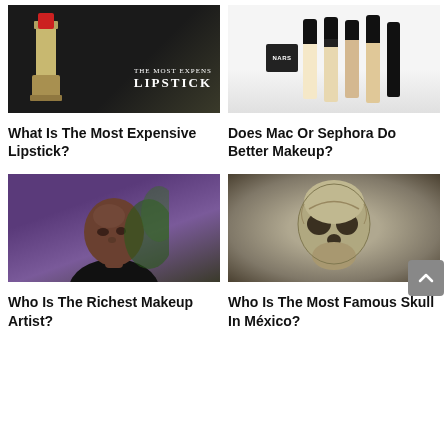[Figure (photo): Dark background with luxury lipstick product and text overlay reading 'THE MOST EXPENSIVE LIPSTICK']
[Figure (photo): NARS, Make Up For Ever HD, and MAC foundation/makeup products lined up on white background]
What Is The Most Expensive Lipstick?
Does Mac Or Sephora Do Better Makeup?
[Figure (photo): Portrait photo of a bald Black man (Dr. Dre) against a purple/green background]
[Figure (photo): Stone or fossil skull artifact photographed against a grey background]
Who Is The Richest Makeup Artist?
Who Is The Most Famous Skull In México?